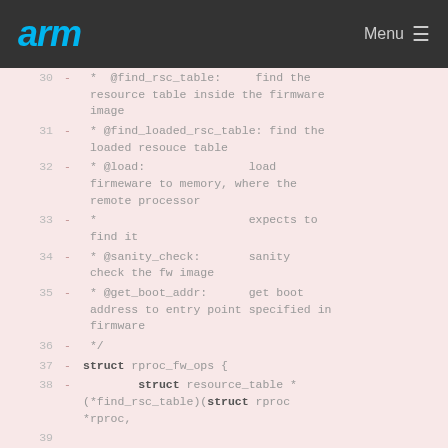arm  Menu
Code listing lines 30-39 showing rproc_fw_ops struct definition with comments for find_rsc_table, find_loaded_rsc_table, load, sanity_check, get_boot_addr operations